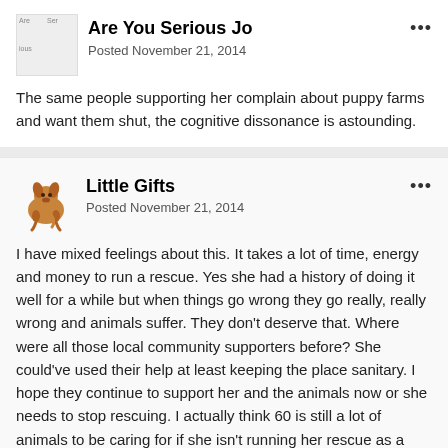Are You Serious Jo
Posted November 21, 2014
The same people supporting her complain about puppy farms and want them shut, the cognitive dissonance is astounding.
Little Gifts
Posted November 21, 2014
I have mixed feelings about this. It takes a lot of time, energy and money to run a rescue. Yes she had a history of doing it well for a while but when things go wrong they go really, really wrong and animals suffer. They don't deserve that. Where were all those local community supporters before? She could've used their help at least keeping the place sanitary. I hope they continue to support her and the animals now or she needs to stop rescuing. I actually think 60 is still a lot of animals to be caring for if she isn't running her rescue as a break even business with staff on the